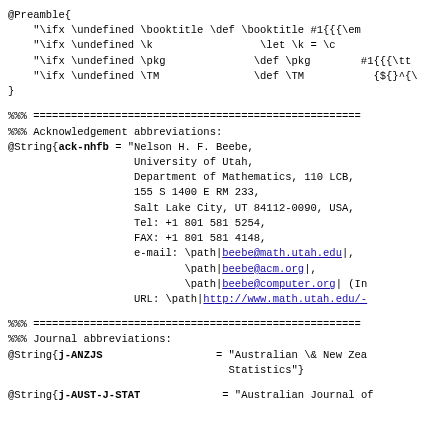@Preamble{
    "\ifx \undefined \booktitle \def \booktitle #1{{{\em
    "\ifx \undefined \k                 \let \k = \c
    "\ifx \undefined \pkg              \def \pkg        #1{{{\tt
    "\ifx \undefined \TM               \def \TM           {${}^{\v
}
%%% ====================================================
%%% Acknowledgement abbreviations:
@String{ack-nhfb = "Nelson H. F. Beebe,
                    University of Utah,
                    Department of Mathematics, 110 LCB,
                    155 S 1400 E RM 233,
                    Salt Lake City, UT 84112-0090, USA,
                    Tel: +1 801 581 5254,
                    FAX: +1 801 581 4148,
                    e-mail: \path|beebe@math.utah.edu|,
                            \path|beebe@acm.org|,
                            \path|beebe@computer.org| (In
                    URL: \path|http://www.math.utah.edu/-
%%% ====================================================
%%% Journal abbreviations:
@String{j-ANZJS                  = "Australian \& New Zea
                                   Statistics"}
@String{j-AUST-J-STAT             = "Australian Journal of